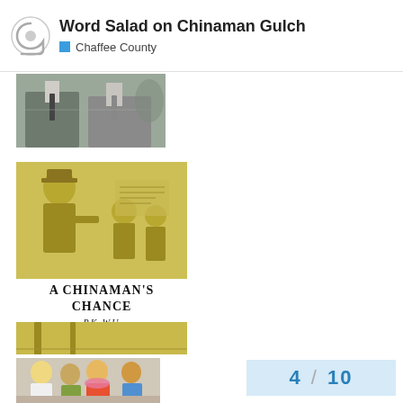Word Salad on Chinaman Gulch | Chaffee County
[Figure (photo): Cropped photo showing two men in suits and ties, one with a gray tie, in a formal setting]
[Figure (illustration): Sepia/yellow-toned illustration showing caricatured figures in Victorian-style clothing, one tall figure facing smaller figures]
A CHINAMAN'S CHANCE
PK WU
[Figure (illustration): Bottom portion of the book cover illustration showing a chair leg]
[Figure (illustration): Colorful illustration showing cartoon-style characters including a blonde person and figures in colorful clothing]
4 / 10